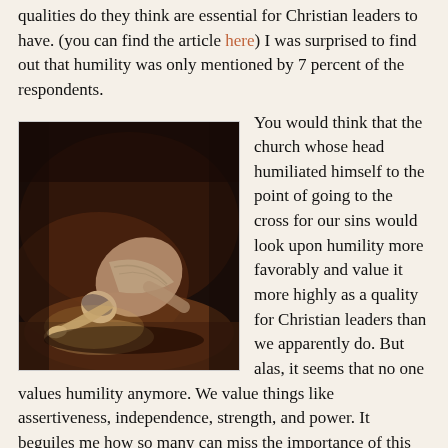qualities do they think are essential for Christian leaders to have. (you can find the article here) I was surprised to find out that humility was only mentioned by 7 percent of the respondents.
[Figure (photo): A person prostrated on the floor in a posture of humility or prayer, painted in dark warm tones. The figure is bowing deeply with arms outstretched forward on a dark brown floor.]
You would think that the church whose head humiliated himself to the point of going to the cross for our sins would look upon humility more favorably and value it more highly as a quality for Christian leaders than we apparently do. But alas, it seems that no one values humility anymore. We value things like assertiveness, independence, strength, and power. It beguiles me how so many can miss the importance of this central quality of Christian leadership. To be sure integrity scored highly, but I do not know how one can have